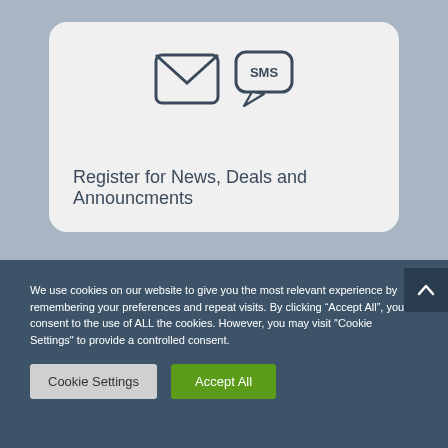[Figure (illustration): Card with email envelope icon and SMS speech bubble icon, on a grey-blue background]
Register for News, Deals and Announcments
We use cookies on our website to give you the most relevant experience by remembering your preferences and repeat visits. By clicking “Accept All”, you consent to the use of ALL the cookies. However, you may visit "Cookie Settings" to provide a controlled consent.
Cookie Settings
Accept All